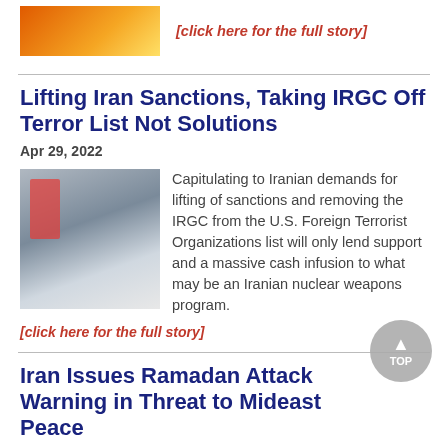[Figure (photo): Orange/flame colored image at top left]
[click here for the full story]
Lifting Iran Sanctions, Taking IRGC Off Terror List Not Solutions
Apr 29, 2022
[Figure (photo): Protest photo with red flag and signs about IRGC]
Capitulating to Iranian demands for lifting of sanctions and removing the IRGC from the U.S. Foreign Terrorist Organizations list will only lend support and a massive cash infusion to what may be an Iranian nuclear weapons program.
[click here for the full story]
Iran Issues Ramadan Attack Warning in Threat to Mideast Peace
Mar 31, 2022
[Figure (photo): Photo of Major General Hossein Salami]
In an ominous warning to Israel and regional Sunni countries, Major General Hossein Salami, the